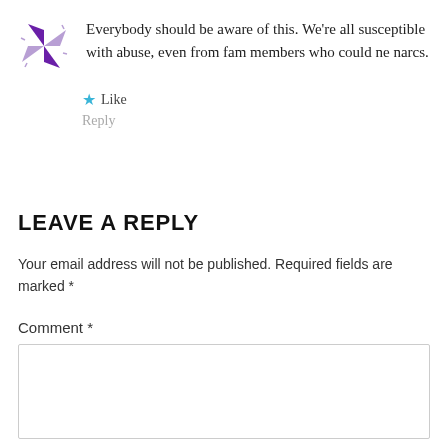[Figure (logo): Purple pinwheel/windmill logo icon]
Everybody should be aware of this. We're all susceptible with abuse, even from fam members who could ne narcs.
★ Like
Reply
LEAVE A REPLY
Your email address will not be published. Required fields are marked *
Comment *